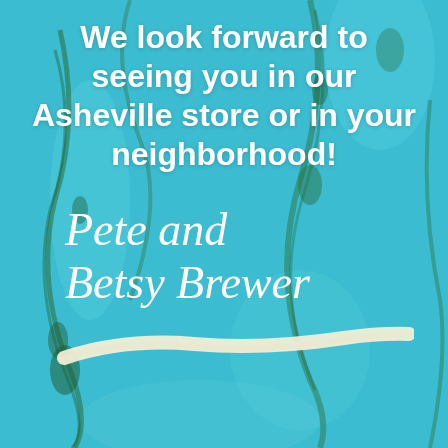[Figure (illustration): Teal/turquoise marble-textured background with dark green vein patterns running diagonally throughout the image.]
We look forward to seeing you in our Asheville store or in your neighborhood!
Pete and Betsy Brewer